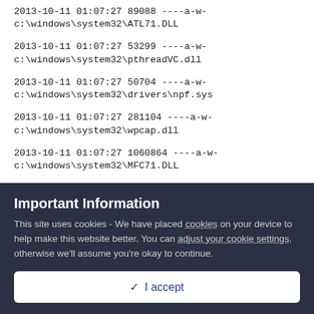2013-10-11 01:07:27 89088 ----a-w- c:\windows\system32\ATL71.DLL
2013-10-11 01:07:27 53299 ----a-w- c:\windows\system32\pthreadVC.dll
2013-10-11 01:07:27 50704 ----a-w- c:\windows\system32\drivers\npf.sys
2013-10-11 01:07:27 281104 ----a-w- c:\windows\system32\wpcap.dll
2013-10-11 01:07:27 1060864 ----a-w- c:\windows\system32\MFC71.DLL
Important Information
This site uses cookies - We have placed cookies on your device to help make this website better. You can adjust your cookie settings, otherwise we'll assume you're okay to continue.
✓  I accept